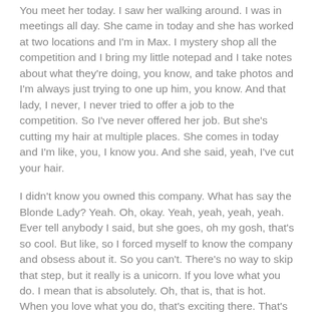You meet her today. I saw her walking around. I was in meetings all day. She came in today and she has worked at two locations and I'm in Max. I mystery shop all the competition and I bring my little notepad and I take notes about what they're doing, you know, and take photos and I'm always just trying to one up him, you know. And that lady, I never, I never tried to offer a job to the competition. So I've never offered her job. But she's cutting my hair at multiple places. She comes in today and I'm like, you, I know you. And she said, yeah, I've cut your hair.
I didn't know you owned this company. What has say the Blonde Lady? Yeah. Oh, okay. Yeah, yeah, yeah, yeah. Ever tell anybody I said, but she goes, oh my gosh, that's so cool. But like, so I forced myself to know the company and obsess about it. So you can't. There's no way to skip that step, but it really is a unicorn. If you love what you do. I mean that is absolutely. Oh, that is, that is hot. When you love what you do, that's exciting there. That's like a butt man. Hair. Let me tell you about here. I want to. I think Max, I had to read all these hair books. I've had to go to trade shows to go to the competition. I had never